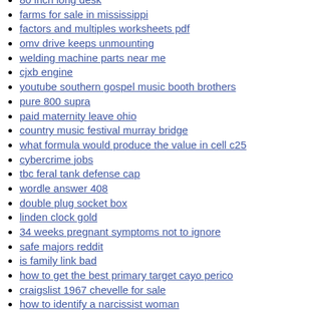80 inch long desk
farms for sale in mississippi
factors and multiples worksheets pdf
omv drive keeps unmounting
welding machine parts near me
cjxb engine
youtube southern gospel music booth brothers
pure 800 supra
paid maternity leave ohio
country music festival murray bridge
what formula would produce the value in cell c25
cybercrime jobs
tbc feral tank defense cap
wordle answer 408
double plug socket box
linden clock gold
34 weeks pregnant symptoms not to ignore
safe majors reddit
is family link bad
how to get the best primary target cayo perico
craigslist 1967 chevelle for sale
how to identify a narcissist woman
phloem archvale
naomi blemur agriculture
centurion lounge dulles